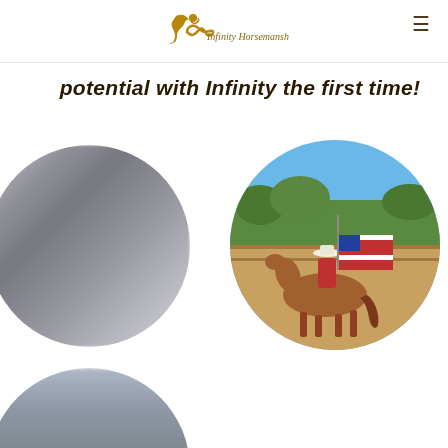[Figure (logo): Infinity Horsemanship logo with horse silhouette and script text]
potential with Infinity the first time!
[Figure (photo): Circular photo of blurry stable/horse stall with white posts]
[Figure (photo): Circular photo of rider on chestnut horse carrying American flag in outdoor arena with blue sky and trees]
[Figure (photo): Circular photo partially visible at bottom, blurry landscape with mountain or sky]